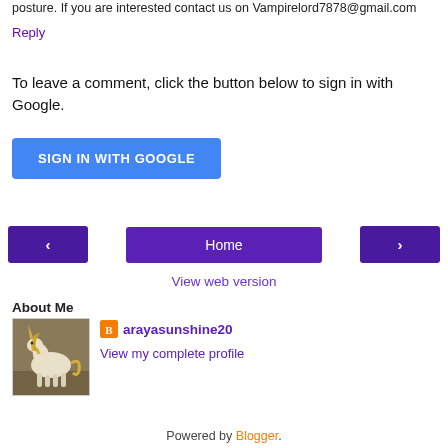posture. If you are interested contact us on Vampirelord7878@gmail.com
Reply
To leave a comment, click the button below to sign in with Google.
SIGN IN WITH GOOGLE
Home
View web version
About Me
[Figure (photo): Profile photo showing a white unicorn illustration on a dark/grey background]
arayasunshine20
View my complete profile
Powered by Blogger.